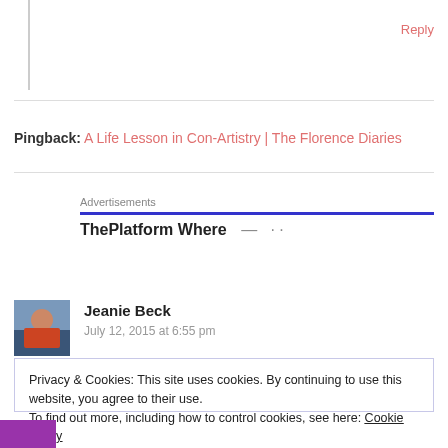Reply
Pingback: A Life Lesson in Con-Artistry | The Florence Diaries
[Figure (other): Advertisement banner showing 'ThePlatform Where' text with blue underline bar and truncated continuation]
Jeanie Beck
July 12, 2015 at 6:55 pm
Privacy & Cookies: This site uses cookies. By continuing to use this website, you agree to their use.
To find out more, including how to control cookies, see here: Cookie Policy
Close and accept